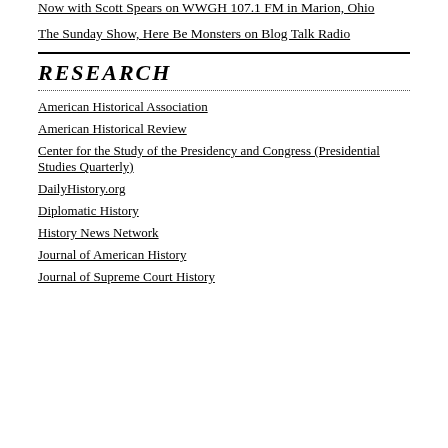Now with Scott Spears on WWGH 107.1 FM in Marion, Ohio
The Sunday Show, Here Be Monsters on Blog Talk Radio
RESEARCH
American Historical Association
American Historical Review
Center for the Study of the Presidency and Congress (Presidential Studies Quarterly)
DailyHistory.org
Diplomatic History
History News Network
Journal of American History
Journal of Supreme Court History